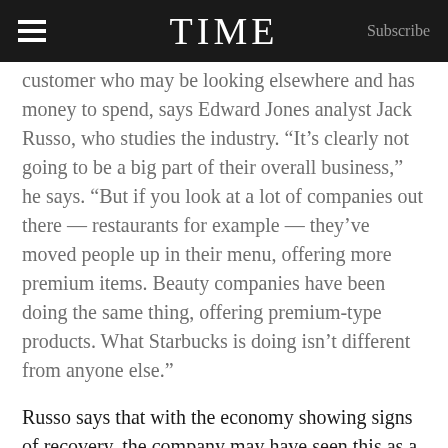TIME | Subscribe
customer who may be looking elsewhere and has money to spend, says Edward Jones analyst Jack Russo, who studies the industry. “It’s clearly not going to be a big part of their overall business,” he says. “But if you look at a lot of companies out there — restaurants for example — they’ve moved people up in their menu, offering more premium items. Beauty companies have been doing the same thing, offering premium-type products. What Starbucks is doing isn’t different from anyone else.”
Russo says that with the economy showing signs of recovery, the company may have seen this as a good time to unveil a coffee that you’d think most consumers would sneer at. At first glance, $7 seems ridiculous. But that’s the thing about Starbucks’ entire strategy: They’ve successfully convinced Americans that a few bucks more for a cup of coffee isn’t that big of a deal.